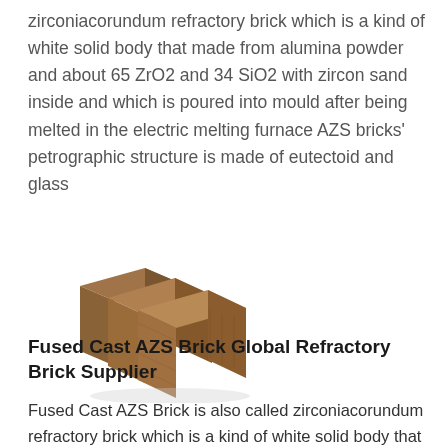zirconiacorundum refractory brick which is a kind of white solid body that made from alumina powder and about 65 ZrO2 and 34 SiO2 with zircon sand inside and which is poured into mould after being melted in the electric melting furnace AZS bricks' petrographic structure is made of eutectoid and glass
[Figure (photo): Three brown refractory bricks (AZS bricks) stacked/arranged together on a white background]
Fused Cast AZS Brick Global Refractory Brick Supplier
Fused Cast AZS Brick is also called zirconiacorundum refractory brick which is a kind of white solid body that made from alumina powder